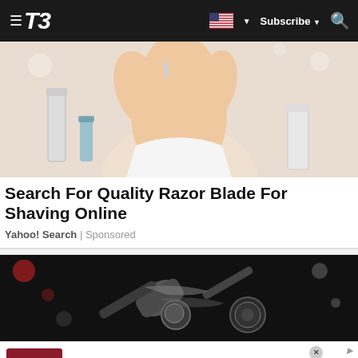T3 — Subscribe
[Figure (photo): Person shaving face with razor in bathroom setting]
Search For Quality Razor Blade For Shaving Online
Yahoo! Search | Sponsored
[Figure (photo): Close-up dark background with metallic cylindrical objects]
[Figure (infographic): NFL Shop advertisement with red jersey thumbnail, brand name, shipping info, shop now button, and arrow CTA]